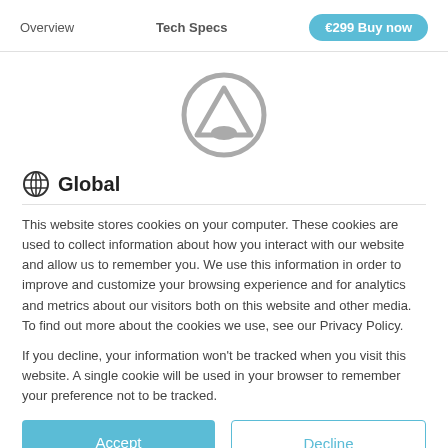Overview   Tech Specs   €299 Buy now
[Figure (logo): Circular logo with a triangle/mountain shape inside, gray outline style]
Global
This website stores cookies on your computer. These cookies are used to collect information about how you interact with our website and allow us to remember you. We use this information in order to improve and customize your browsing experience and for analytics and metrics about our visitors both on this website and other media. To find out more about the cookies we use, see our Privacy Policy.
If you decline, your information won't be tracked when you visit this website. A single cookie will be used in your browser to remember your preference not to be tracked.
Accept   Decline